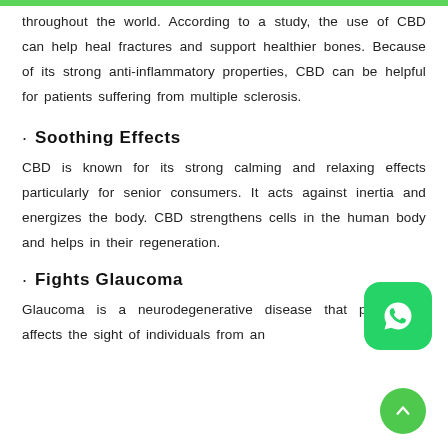throughout the world. According to a study, the use of CBD can help heal fractures and support healthier bones. Because of its strong anti-inflammatory properties, CBD can be helpful for patients suffering from multiple sclerosis.
· Soothing Effects
CBD is known for its strong calming and relaxing effects particularly for senior consumers. It acts against inertia and energizes the body. CBD strengthens cells in the human body and helps in their regeneration.
· Fights Glaucoma
Glaucoma is a neurodegenerative disease that particularly affects the sight of individuals from an
[Figure (logo): WhatsApp button icon — green rounded square with white phone handset in speech bubble]
[Figure (other): Scroll-to-top circular green button with upward arrow]